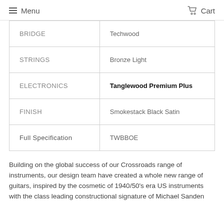Menu  Cart
| BRIDGE | Techwood |
| STRINGS | Bronze Light |
| ELECTRONICS | Tanglewood Premium Plus |
| FINISH | Smokestack Black Satin |
| Full Specification | TWBBOE |
Building on the global success of our Crossroads range of instruments, our design team have created a whole new range of guitars, inspired by the cosmetic of 1940/50's era US instruments with the class leading constructional signature of Michael Sanden